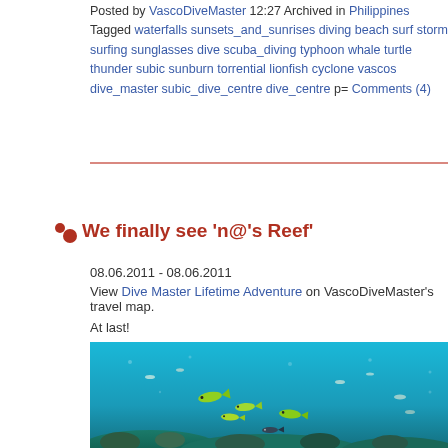Posted by VascoDiveMaster 12:27 Archived in Philippines Tagged waterfalls sunsets_and_sunrises diving beach surf storm surfing sunglasses dive scuba_diving typhoon whale turtle thunder subic sunburn torrential lionfish cyclone vascos dive_master subic_dive_centre dive_centre p= Comments (4)
We finally see 'n@'s Reef'
08.06.2011 - 08.06.2011
View Dive Master Lifetime Adventure on VascoDiveMaster's travel map.
At last!
[Figure (photo): Underwater photograph showing tropical fish swimming above a coral reef in clear blue water]